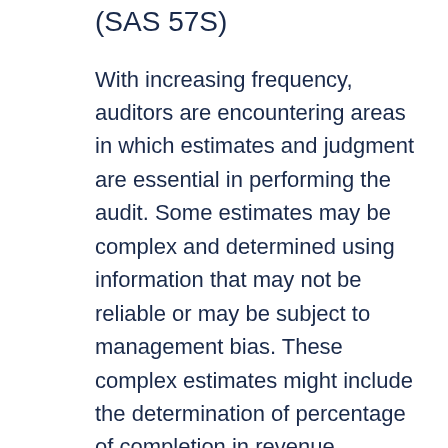(SAS 57S)
With increasing frequency, auditors are encountering areas in which estimates and judgment are essential in performing the audit. Some estimates may be complex and determined using information that may not be reliable or may be subject to management bias. These complex estimates might include the determination of percentage of completion in revenue recognition, impairment or recoverability of loans or investments and obsolescence in inventory.
When planning the audit,